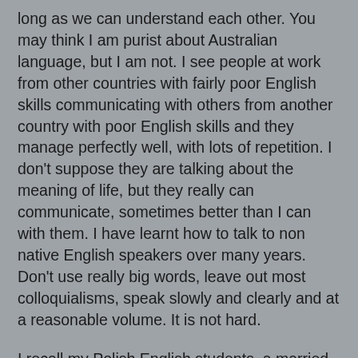long as we can understand each other. You may think I am purist about Australian language, but I am not. I see people at work from other countries with fairly poor English skills communicating with others from another country with poor English skills and they manage perfectly well, with lots of repetition. I don't suppose they are talking about the meaning of life, but they really can communicate, sometimes better than I can with them. I have learnt how to talk to non native English speakers over many years. Don't use really big words, leave out most colloquialisms, speak slowly and clearly and at a reasonable volume. It is not hard.
I recall my Polish English students, a married couple who I voluntarily taught English to. Now Lee Lin Chin is a fine newsreader and speaks impeccable English (wears great clothes and is somewhat the life of the party. Psst, she likes a drink) but my students found her incomprehensible. Blub blub blub, they said.
But then there is the eloquence of Americans. Even those who would not know Egypt from  Ecuador seem to be able to speak coherently and very clearly , if the latter is not a